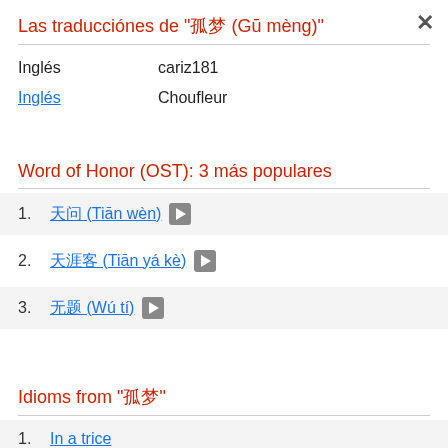Las traducciónes de "孤梦 (Gū mèng)"
Inglés    cariz181
Inglés    Choufleur
Word of Honor (OST): 3 más populares
1. 天问 (Tiān wèn)
2. 天涯客 (Tiān yá kè)
3. 无题 (Wú tí)
Idioms from "孤梦"
1. In a trice